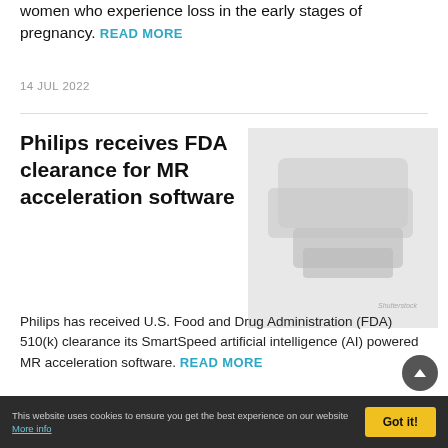women who experience loss in the early stages of pregnancy. READ MORE
14 JUL 2022
Philips receives FDA clearance for MR acceleration software
[Figure (photo): Light-colored medical or pharmaceutical product image (possibly an MRI-related device or packaging), shown in light gray tones with a Shutterstock watermark]
Philips has received U.S. Food and Drug Administration (FDA) 510(k) clearance its SmartSpeed artificial intelligence (AI) powered MR acceleration software. READ MORE
12 JUL 2022
This website uses cookies to ensure you get the best experience on our website More info